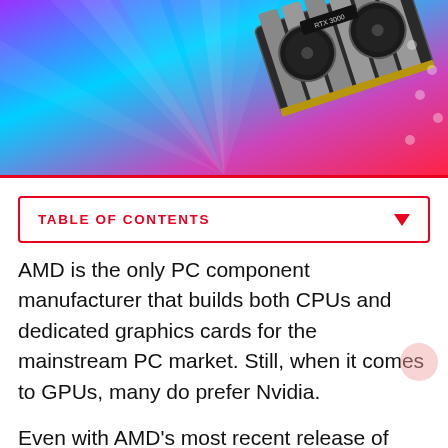[Figure (photo): GPU graphics card (NVIDIA RTX 3000 series) floating against a vivid colorful background with pink, purple and blue light rays]
TABLE OF CONTENTS
AMD is the only PC component manufacturer that builds both CPUs and dedicated graphics cards for the mainstream PC market. Still, when it comes to GPUs, many do prefer Nvidia.
Even with AMD's most recent release of their RDNA 2 Radeon RX 6000 series of graphics